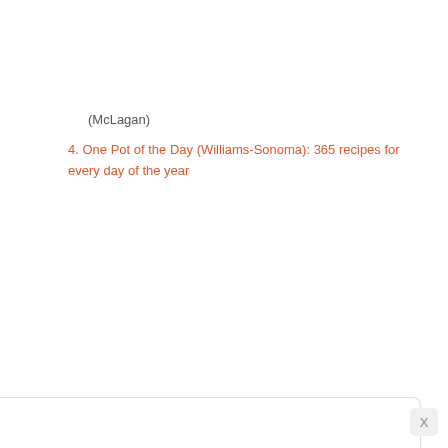(McLagan)
4. One Pot of the Day (Williams-Sonoma): 365 recipes for every day of the year